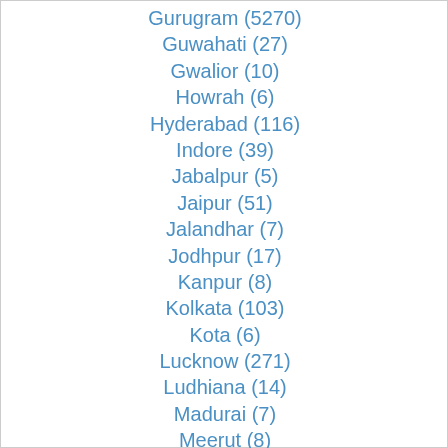Gurugram (5270)
Guwahati (27)
Gwalior (10)
Howrah (6)
Hyderabad (116)
Indore (39)
Jabalpur (5)
Jaipur (51)
Jalandhar (7)
Jodhpur (17)
Kanpur (8)
Kolkata (103)
Kota (6)
Lucknow (271)
Ludhiana (14)
Madurai (7)
Meerut (8)
Mumbai (820)
Mysore (20)
Nagpur (23)
Nashik (14)